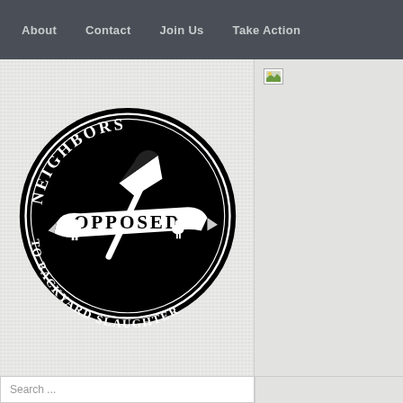About | Contact | Join Us | Take Action
[Figure (logo): Circular black logo reading 'NEIGHBORS OPPOSED TO BACKYARD SLAUGHTER' with an axe and animal silhouettes in the center]
Search ...